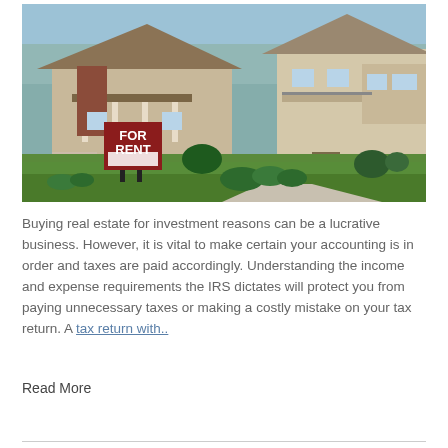[Figure (photo): Photograph of a residential house with a red 'FOR RENT' sign in the front yard, green lawn, driveway, and suburban neighborhood setting.]
Buying real estate for investment reasons can be a lucrative business. However, it is vital to make certain your accounting is in order and taxes are paid accordingly. Understanding the income and expense requirements the IRS dictates will protect you from paying unnecessary taxes or making a costly mistake on your tax return. A tax return with..
Read More